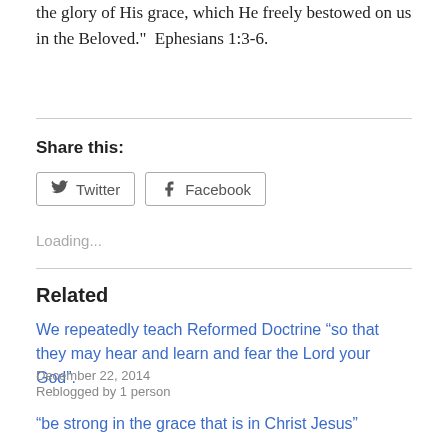the glory of His grace, which He freely bestowed on us in the Beloved."  Ephesians 1:3-6.
Share this:
Twitter  Facebook
Loading...
Related
We repeatedly teach Reformed Doctrine “so that they may hear and learn and fear the Lord your God”.
December 22, 2014
Reblogged by 1 person
“be strong in the grace that is in Christ Jesus”
August 9, 2013